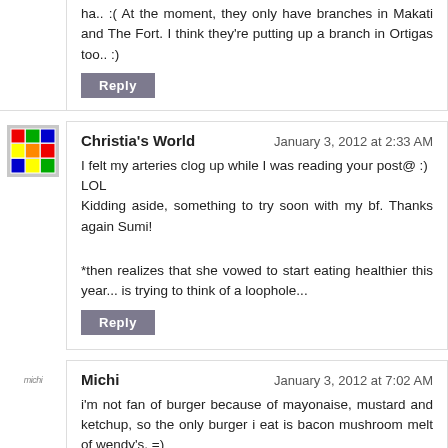ha.. :( At the moment, they only have branches in Makati and The Fort. I think they're putting up a branch in Ortigas too.. :)
Reply
Christia's World
January 3, 2012 at 2:33 AM
I felt my arteries clog up while I was reading your post@ :) LOL
Kidding aside, something to try soon with my bf. Thanks again Sumi!

*then realizes that she vowed to start eating healthier this year... is trying to think of a loophole...
Reply
Michi
January 3, 2012 at 7:02 AM
i'm not fan of burger because of mayonaise, mustard and ketchup, so the only burger i eat is bacon mushroom melt of wendy's. =)
Reply